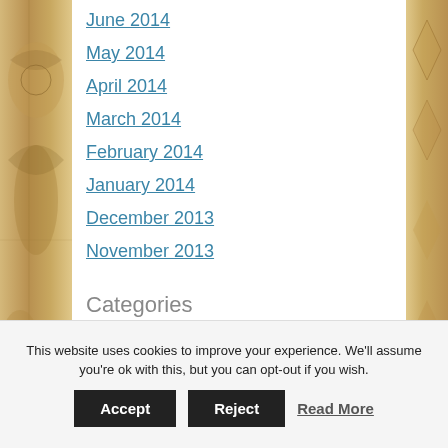June 2014
May 2014
April 2014
March 2014
February 2014
January 2014
December 2013
November 2013
Categories
3D Printing
5G
This website uses cookies to improve your experience. We'll assume you're ok with this, but you can opt-out if you wish.